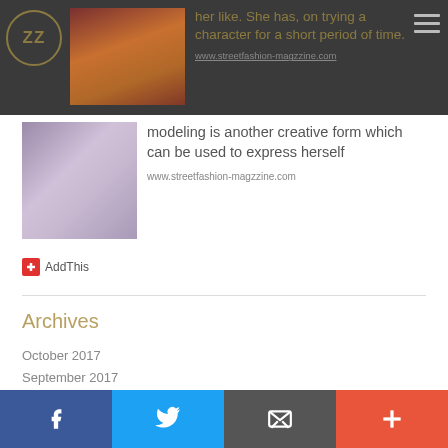her like. She has, on trying a character for a short period of time — www.streetfashion-magzzine.com
[Figure (photo): Small thumbnail image of fashion content in the second article card]
modeling is another creative form which can be used to express herself
www.streetfashion-magzzine.com
AddThis
Archives
October 2017
September 2017
August 2017
July 2017
June 2017
May 2017
April 2017